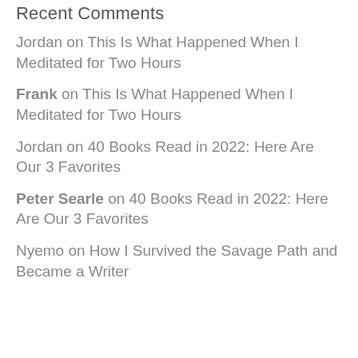Recent Comments
Jordan on This Is What Happened When I Meditated for Two Hours
Frank on This Is What Happened When I Meditated for Two Hours
Jordan on 40 Books Read in 2022: Here Are Our 3 Favorites
Peter Searle on 40 Books Read in 2022: Here Are Our 3 Favorites
Nyemo on How I Survived the Savage Path and Became a Writer